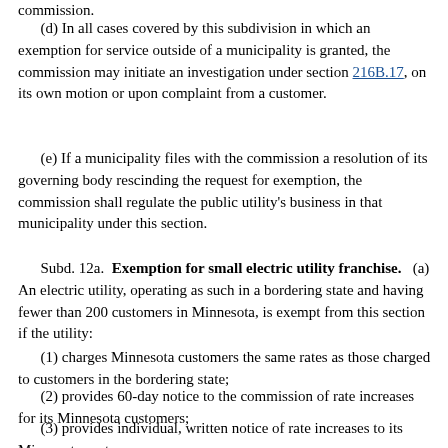commission.
(d) In all cases covered by this subdivision in which an exemption for service outside of a municipality is granted, the commission may initiate an investigation under section 216B.17, on its own motion or upon complaint from a customer.
(e) If a municipality files with the commission a resolution of its governing body rescinding the request for exemption, the commission shall regulate the public utility's business in that municipality under this section.
Subd. 12a. Exemption for small electric utility franchise. (a) An electric utility, operating as such in a bordering state and having fewer than 200 customers in Minnesota, is exempt from this section if the utility:
(1) charges Minnesota customers the same rates as those charged to customers in the bordering state;
(2) provides 60-day notice to the commission of rate increases for its Minnesota customers;
(3) provides individual, written notice of rate increases to its Minnesota customers;